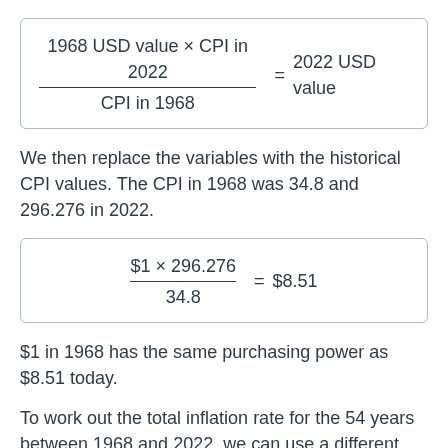We then replace the variables with the historical CPI values. The CPI in 1968 was 34.8 and 296.276 in 2022.
$1 in 1968 has the same purchasing power as $8.51 today.
To work out the total inflation rate for the 54 years between 1968 and 2022, we can use a different formula: